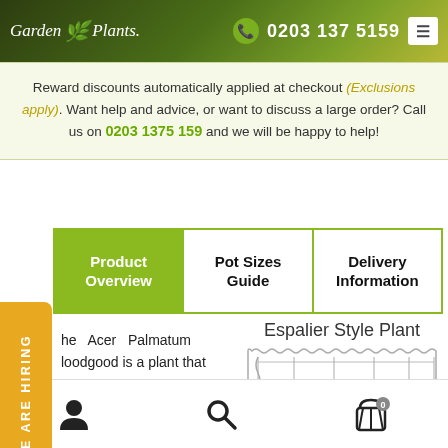Garden Plants | 0203 137 5159
Reward discounts automatically applied at checkout (Exclusions apply). Want help and advice, or want to discuss a large order? Call us on 0203 1375 159 and we will be happy to help!
| Product Overview | Pot Sizes Guide | Delivery Information |
| --- | --- | --- |
The Acer Palmatum Bloodgood is a plant that is native to East Asia, particularly Japan, Korea and China. The actual
[Figure (illustration): Espalier Style Plant diagram showing a grid/trellis pattern with horizontal and vertical lines on a wavy-bordered background]
User account | Search | Cart (0)